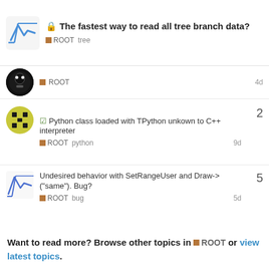The fastest way to read all tree branch data?  ROOT  tree
ROOT  4d
Python class loaded with TPython unkown to C++ interpreter  ROOT  python  2  9d
Undesired behavior with SetRangeUser and Draw->("same"). Bug?  ROOT  bug  5  5d
How to link ROOT libraries using separate CMakeLists.txt  ROOT  cmake  5  2d
Want to read more? Browse other topics in ROOT or view latest topics.